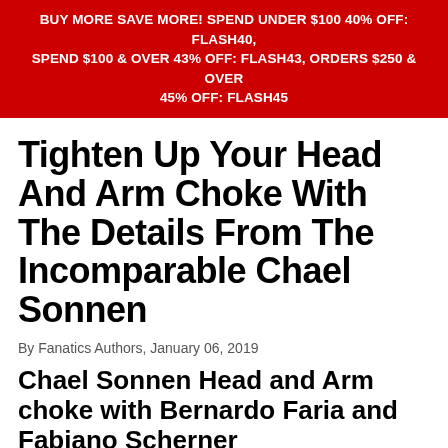BUY MORE SAVE MORE! SPEND UNDER $100 40% OFF: FLASH40, SPEND $100 & OVER 43% OFF: FLASH43, ORDERS $250 & OVER 45% OFF: FLASH45
Tighten Up Your Head And Arm Choke With The Details From The Incomparable Chael Sonnen
By Fanatics Authors, January 06, 2019
Chael Sonnen Head and Arm choke with Bernardo Faria and Fabiano Scherner
Who is Chael Sonnen? For many Sonnen needs